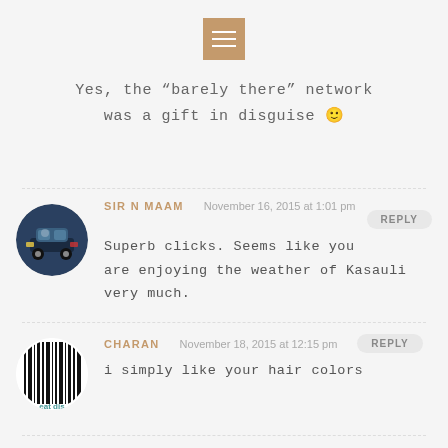[Figure (other): Menu icon button with three horizontal lines on brown/tan background]
Yes, the "barely there" network was a gift in disguise 🙂
SIR N MAAM  November 16, 2015 at 1:01 pm
Superb clicks. Seems like you are enjoying the weather of Kasauli very much.
CHARAN  November 18, 2015 at 12:15 pm
i simply like your hair colors